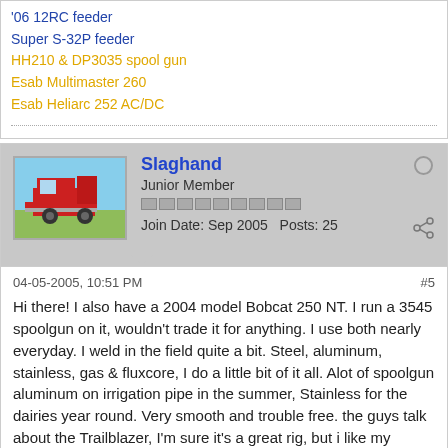'06 12RC feeder
Super S-32P feeder
HH210 & DP3035 spool gun
Esab Multimaster 260
Esab Heliarc 252 AC/DC
Slaghand
Junior Member
Join Date: Sep 2005   Posts: 25
04-05-2005, 10:51 PM   #5
Hi there! I also have a 2004 model Bobcat 250 NT. I run a 3545 spoolgun on it, wouldn't trade it for anything. I use both nearly everyday. I weld in the field quite a bit. Steel, aluminum, stainless, gas & fluxcore, I do a little bit of it all. Alot of spoolgun aluminum on irrigation pipe in the summer, Stainless for the dairies year round. Very smooth and trouble free. the guys talk about the Trailblazer, I'm sure it's a great rig, but i like my Bobcat! Try them both out! Your the one you have to please. Good luck!
250NT/ 3545 MM210/ 3035 Trailblazer 302